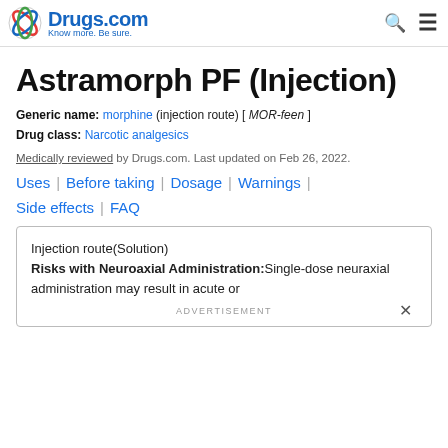Drugs.com — Know more. Be sure.
Astramorph PF (Injection)
Generic name: morphine (injection route) [ MOR-feen ]
Drug class: Narcotic analgesics
Medically reviewed by Drugs.com. Last updated on Feb 26, 2022.
Uses | Before taking | Dosage | Warnings | Side effects | FAQ
Injection route(Solution)
Risks with Neuroaxial Administration:Single-dose neuraxial administration may result in acute or